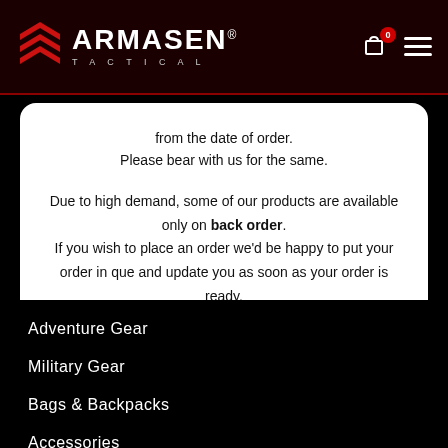[Figure (logo): Armasen Tactical logo with red chevron/arrow icon on dark red header background, with cart and menu icons on the right]
from the date of order.
Please bear with us for the same.
Due to high demand, some of our products are available only on back order.
If you wish to place an order we'd be happy to put your order in que and update you as soon as your order is ready.
Adventure Gear
Military Gear
Bags & Backpacks
Accessories
About Armasen